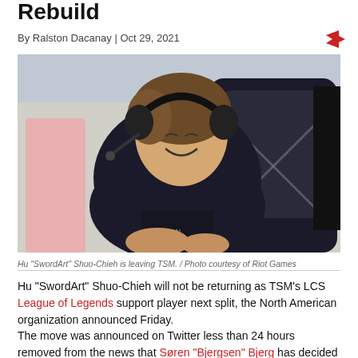Rebuild
By Ralston Dacanay | Oct 29, 2021
[Figure (photo): Hu 'SwordArt' Shuo-Chieh sitting at a gaming station wearing a headset and smiling, wearing a black jacket, at an LCS event.]
Hu "SwordArt" Shuo-Chieh is leaving TSM. / Photo courtesy of Riot Games
Hu "SwordArt" Shuo-Chieh will not be returning as TSM's LCS League of Legends support player next split, the North American organization announced Friday.
The move was announced on Twitter less than 24 hours removed from the news that Søren "Bjergsen" Bjerg has decided to pursue